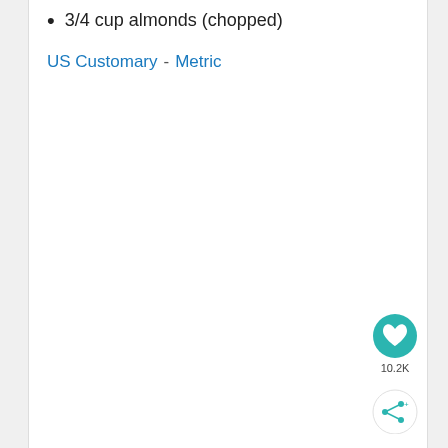3/4 cup almonds (chopped)
US Customary - Metric
[Figure (other): Teal circular FAB button with a white heart icon, with '10.2K' label below it, and a share FAB button below that]